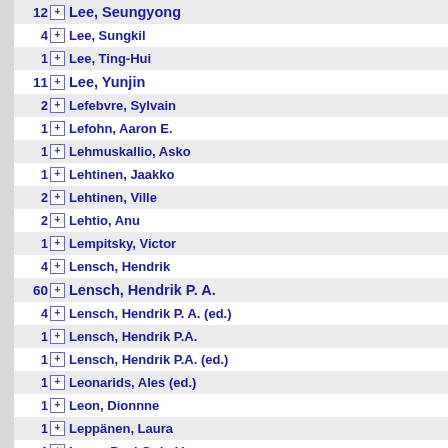12 Lee, Seungyong
4 Lee, Sungkil
1 Lee, Ting-Hui
11 Lee, Yunjin
2 Lefebvre, Sylvain
1 Lefohn, Aaron E.
1 Lehmuskallio, Asko
1 Lehtinen, Jaakko
2 Lehtinen, Ville
2 Lehtio, Anu
1 Lempitsky, Victor
4 Lensch, Hendrik
60 Lensch, Hendrik P. A.
4 Lensch, Hendrik P. A. (ed.)
1 Lensch, Hendrik P.A.
1 Lensch, Hendrik P.A. (ed.)
1 Leonarids, Ales (ed.)
1 Leon, Dionnne
1 Leppänen, Laura
1 Lever, Paul G. (ed.)
1 Levieux, Philippe
1 Levine, Sergey